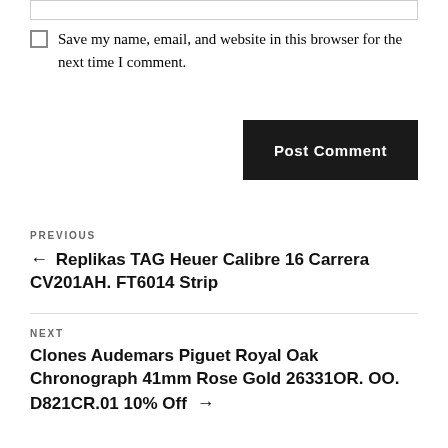Save my name, email, and website in this browser for the next time I comment.
Post Comment
PREVIOUS
← Replikas TAG Heuer Calibre 16 Carrera CV201AH. FT6014 Strip
NEXT
Clones Audemars Piguet Royal Oak Chronograph 41mm Rose Gold 26331OR. OO. D821CR.01 10% Off →